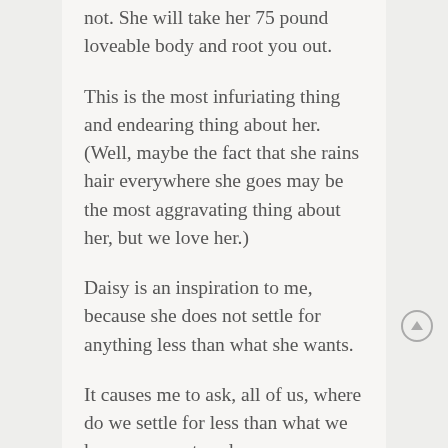not. She will take her 75 pound loveable body and root you out.
This is the most infuriating thing and endearing thing about her. (Well, maybe the fact that she rains hair everywhere she goes may be the most aggravating thing about her, but we love her.)
Daisy is an inspiration to me, because she does not settle for anything less than what she wants.
It causes me to ask, all of us, where do we settle for less than what we know we want or deserve.
See, you are a Divine Child of Infinite